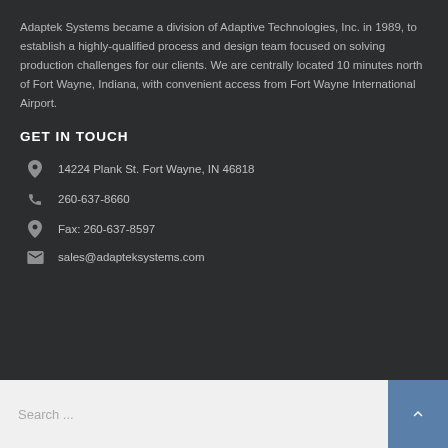Adaptek Systems became a division of Adaptive Technologies, Inc. in 1989, to establish a highly-qualified process and design team focused on solving production challenges for our clients. We are centrally located 10 minutes north of Fort Wayne, Indiana, with convenient access from Fort Wayne International Airport.
GET IN TOUCH
14224 Plank St. Fort Wayne, IN 46818
260-637-8660
Fax: 260-637-8597
sales@adapteksystems.com
Search ...